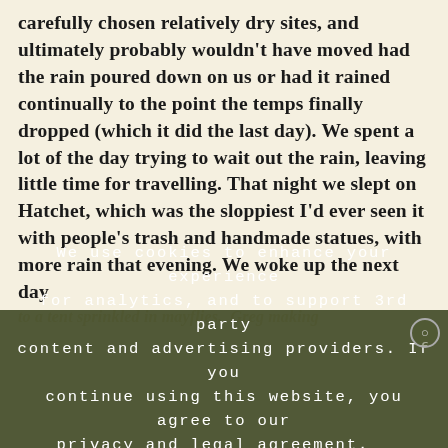carefully chosen relatively dry sites, and ultimately probably wouldn't have moved had the rain poured down on us or had it rained continually to the point the temps finally dropped (which it did the last day). We spent a lot of the day trying to wait out the rain, leaving little time for travelling. That night we slept on Hatchet, which was the sloppiest I'd ever seen it with people's trash and handmade statues, with more rain that evening. We woke up the next day to a tent sprinkled in mayflies. Greg making
We use cookies to enhance your experience for analytics, and to support 3rd party content and advertising providers. If you continue using this website, you agree to our privacy and legal agreement. Ok